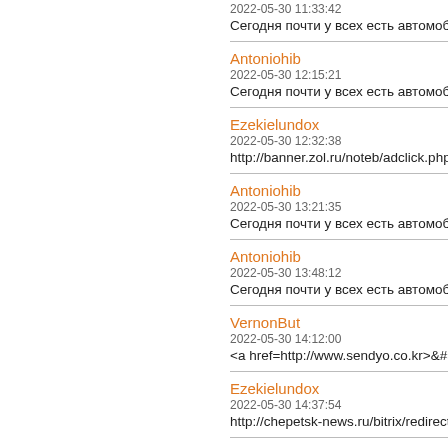2022-05-30 11:33:42
Сегодня почти у всех есть автомобили.
Antoniohib
2022-05-30 12:15:21
Сегодня почти у всех есть автомобили.
Ezekielundox
2022-05-30 12:32:38
http://banner.zol.ru/noteb/adclick.php?ban
Antoniohib
2022-05-30 13:21:35
Сегодня почти у всех есть автомобили.
Antoniohib
2022-05-30 13:48:12
Сегодня почти у всех есть автомобили.
VernonBut
2022-05-30 14:12:00
<a href=http://www.sendyo.co.kr>&#5147
Ezekielundox
2022-05-30 14:37:54
http://chepetsk-news.ru/bitrix/redirect.php